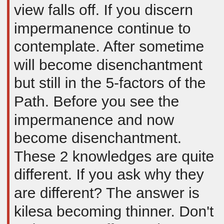view falls off. If you discern impermanence continue to contemplate. After sometime will become disenchantment but still in the 5-factors of the Path. Before you see the impermanence and now become disenchantment. These 2 knowledges are quite different. If you ask why they are different? The answer is kilesa becoming thinner. Don't reduce your effort and contemplate with perseverance. The knowledge will rise up again as these are not worthy to have. This is the penetration to the knowledge of Function - Kicca Nyan. The object of